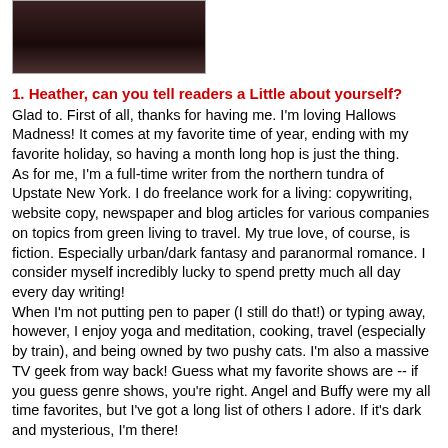[Figure (photo): Close-up photo of a person's face, dark background, partial view showing hair and face from forehead to chin area.]
1. Heather, can you tell readers a Little about yourself?
Glad to. First of all, thanks for having me. I'm loving Hallows Madness! It comes at my favorite time of year, ending with my favorite holiday, so having a month long hop is just the thing.
As for me, I'm a full-time writer from the northern tundra of Upstate New York. I do freelance work for a living: copywriting, website copy, newspaper and blog articles for various companies on topics from green living to travel. My true love, of course, is fiction. Especially urban/dark fantasy and paranormal romance. I consider myself incredibly lucky to spend pretty much all day every day writing!
When I'm not putting pen to paper (I still do that!) or typing away, however, I enjoy yoga and meditation, cooking, travel (especially by train), and being owned by two pushy cats. I'm also a massive TV geek from way back! Guess what my favorite shows are -- if you guess genre shows, you're right. Angel and Buffy were my all time favorites, but I've got a long list of others I adore. If it's dark and mysterious, I'm there!